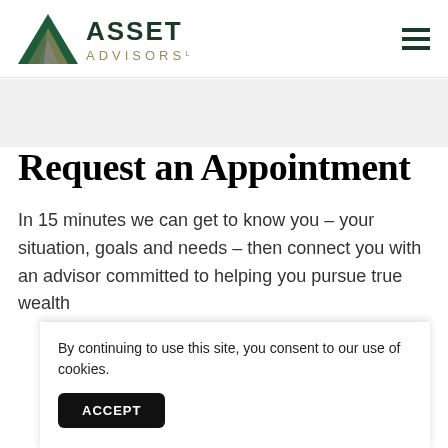Asset Advisors LLC — navigation header with logo and hamburger menu
Request an Appointment
In 15 minutes we can get to know you – your situation, goals and needs – then connect you with an advisor committed to helping you pursue true wealth
By continuing to use this site, you consent to our use of cookies.